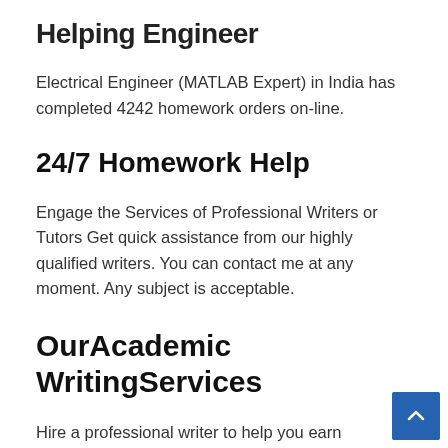Helping Engineer
Electrical Engineer (MATLAB Expert) in India has completed 4242 homework orders on-line.
24/7 Homework Help
Engage the Services of Professional Writers or Tutors Get quick assistance from our highly qualified writers. You can contact me at any moment. Any subject is acceptable.
OurAcademic WritingServices
Hire a professional writer to help you earn